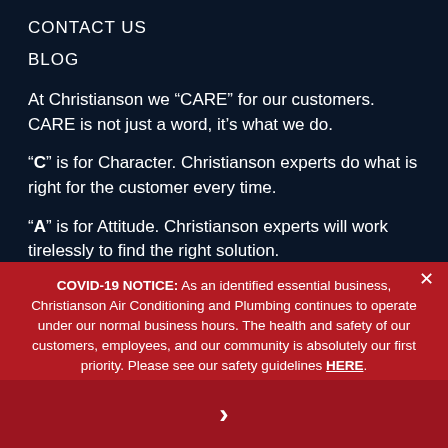CONTACT US
BLOG
At Christianson we “CARE” for our customers. CARE is not just a word, it’s what we do.
“C” is for Character. Christianson experts do what is right for the customer every time.
“A” is for Attitude. Christianson experts will work tirelessly to find the right solution.
COVID-19 NOTICE: As an identified essential business, Christianson Air Conditioning and Plumbing continues to operate under our normal business hours. The health and safety of our customers, employees, and our community is absolutely our first priority. Please see our safety guidelines HERE.